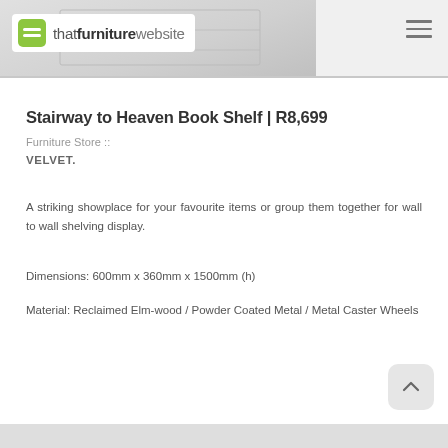thatfurniturewebsite
Stairway to Heaven Book Shelf | R8,699
Furniture Store ::
VELVET.
A striking showplace for your favourite items or group them together for wall to wall shelving display.
Dimensions: 600mm x 360mm x 1500mm (h)
Material: Reclaimed Elm-wood / Powder Coated Metal / Metal Caster Wheels